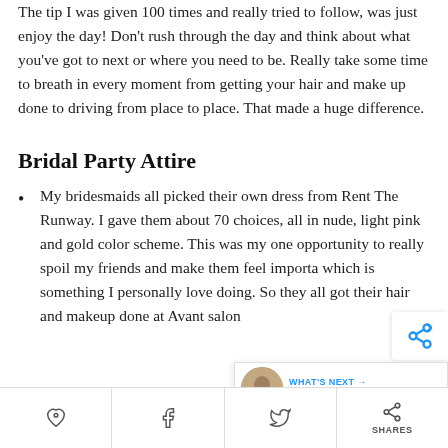The tip I was given 100 times and really tried to follow, was just enjoy the day! Don't rush through the day and think about what you've got to next or where you need to be. Really take some time to breath in every moment from getting your hair and make up done to driving from place to place. That made a huge difference.
Bridal Party Attire
My bridesmaids all picked their own dress from Rent The Runway. I gave them about 70 choices, all in nude, light pink and gold color scheme. This was my one opportunity to really spoil my friends and make them feel important, which is something I personally love doing. So they all got their hair and makeup done at Avant salon...